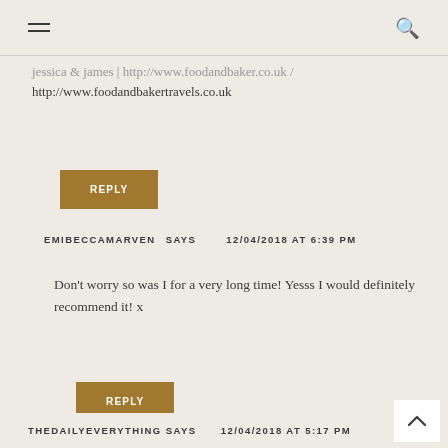Navigation header with hamburger menu and search icon
jessica & james | http://www.foodandbaker.co.uk / http://www.foodandbakertravels.co.uk
REPLY
EMIBECCAMARVEN SAYS   12/04/2018 AT 6:39 PM
Don't worry so was I for a very long time! Yesss I would definitely recommend it! x
REPLY
THEDAILYEVERYTHING SAYS   12/04/2018 AT 5:17 PM